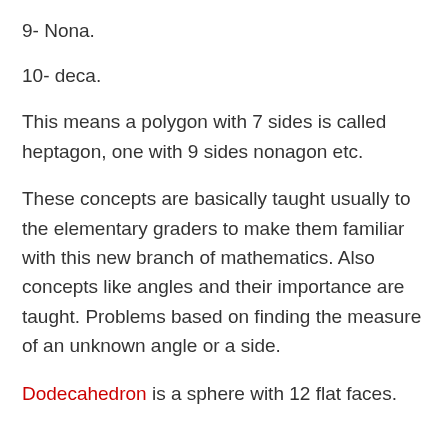9- Nona.
10- deca.
This means a polygon with 7 sides is called heptagon, one with 9 sides nonagon etc.
These concepts are basically taught usually to the elementary graders to make them familiar with this new branch of mathematics. Also concepts like angles and their importance are taught. Problems based on finding the measure of an unknown angle or a side.
Dodecahedron is a sphere with 12 flat faces.